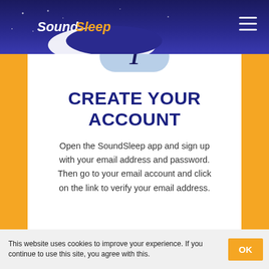[Figure (logo): SoundSleep logo with moon crescent and italic text 'SoundSleep' in white and yellow on dark navy header with hamburger menu icon]
CREATE YOUR ACCOUNT
Open the SoundSleep app and sign up with your email address and password. Then go to your email account and click on the link to verify your email address.
This website uses cookies to improve your experience. If you continue to use this site, you agree with this.